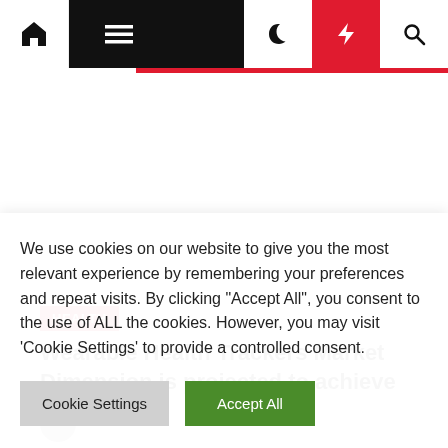Navigation bar with home, menu, dark mode, trending, and search icons
HEALTH
Wearable Health Trackers Market Dimension is projected to achieve
We use cookies on our website to give you the most relevant experience by remembering your preferences and repeat visits. By clicking "Accept All", you consent to the use of ALL the cookies. However, you may visit 'Cookie Settings' to provide a controlled consent.